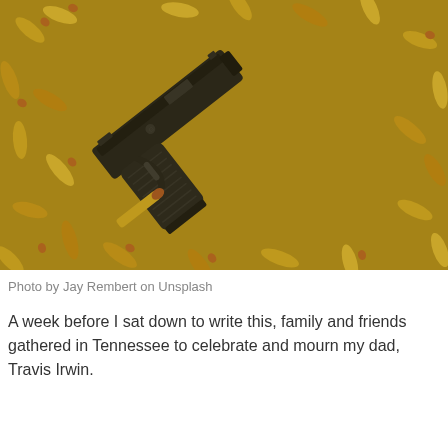[Figure (photo): Close-up photograph of a black handgun (pistol) lying on top of a large pile of golden brass bullets/ammunition cartridges with copper tips, viewed from above.]
Photo by Jay Rembert on Unsplash
A week before I sat down to write this, family and friends gathered in Tennessee to celebrate and mourn my dad, Travis Irwin.